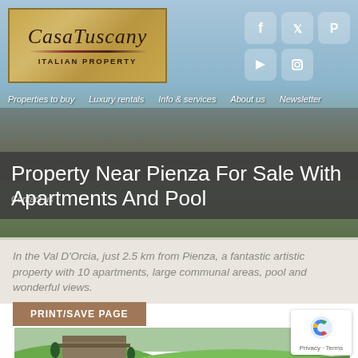[Figure (screenshot): CasaTuscany Italian Property website header with logo, sky/landscape background photo, social media icons (Facebook, Twitter, Pinterest, YouTube, Instagram)]
CasaTuscany ITALIAN PROPERTY
Properties to buy   Luxury rentals   Info & services   About us   Newsletter
Property Near Pienza For Sale With Apartments And Pool
In the Val D'Orcia, just 2.5 km from Pienza, a fantastic artistic property with 10 apartments, large communal areas, pool and wonderful views.
PRINT/SAVE PAGE
[Figure (photo): Aerial/landscape photo of a historic stone property near Pienza, Tuscany, with green rolling hills in Val D'Orcia]